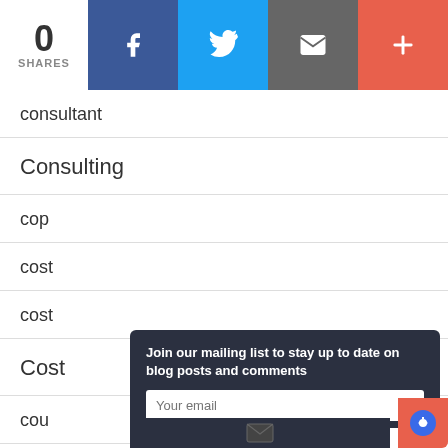[Figure (infographic): Social share bar with count 0 SHARES and four buttons: Facebook (blue), Twitter (light blue), Email (gray), More (red-orange)]
consultant
Consulting
cop
cost
cost
Cost
cou
country
[Figure (screenshot): Modal overlay with mailing list signup: 'Join our mailing list to stay up to date on blog posts and comments', email input field, Subscribe button, and chat bubble icon]